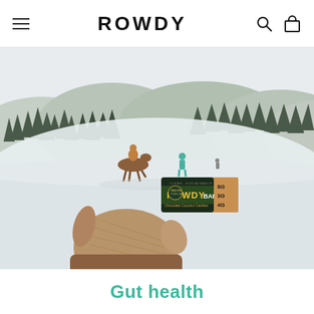ROWDY
[Figure (photo): A gloved hand holding a Rowdy Bar (Chocolate Coconut Cashew flavor) in front of a snowy winter landscape with horses and riders in the background, and snow-covered pine trees on hills.]
Gut health